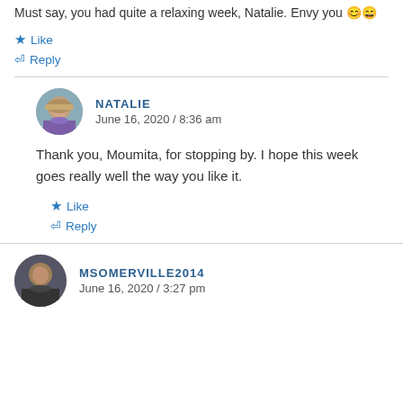Must say, you had quite a relaxing week, Natalie. Envy you 😊😊
★ Like
↩ Reply
NATALIE
June 16, 2020 / 8:36 am
Thank you, Moumita, for stopping by. I hope this week goes really well the way you like it.
★ Like
↩ Reply
MSOMERVILLE2014
June 16, 2020 / 3:27 pm